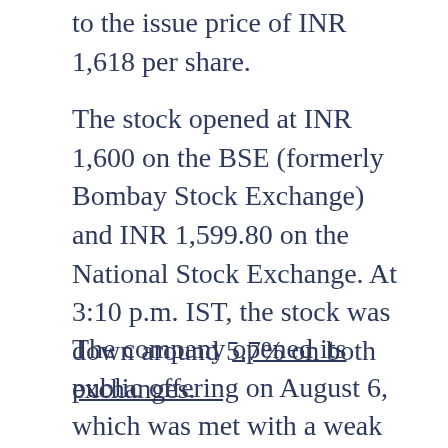to the issue price of INR 1,618 per share.
The stock opened at INR 1,600 on the BSE (formerly Bombay Stock Exchange) and INR 1,599.80 on the National Stock Exchange. At 3:10 p.m. IST, the stock was down around 5.7% on both exchanges.
The company opened its public offering on August 6, which was met with a weak response from investors initially, but gradually picked up momentum. By the end of the final day of bidding, the offer was oversubscribed 20.29 times, with the retail portion being booked 2.74 times. Overall, the company has garnered bids